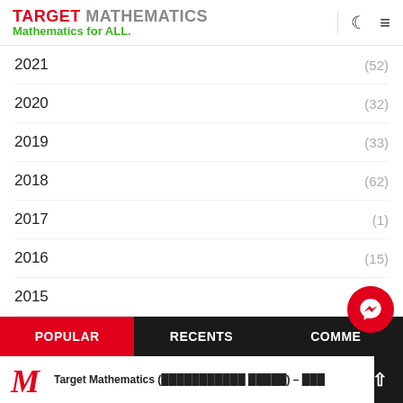TARGET MATHEMATICS — Mathematics for ALL.
2021 (52)
2020 (32)
2019 (33)
2018 (62)
2017 (1)
2016 (15)
2015 (1)
2012 (29)
2010 (6)
2009 (20)
2008 (3)
POPULAR | RECENTS | COMME...
Target Mathematics (…) – …